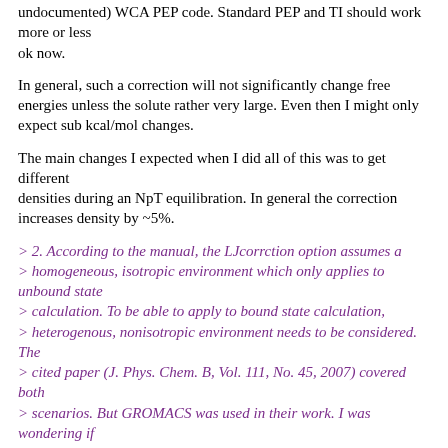undocumented) WCA PEP code. Standard PEP and TI should work more or less ok now.
In general, such a correction will not significantly change free energies unless the solute rather very large. Even then I might only expect sub kcal/mol changes.
The main changes I expected when I did all of this was to get different densities during an NpT equilibration. In general the correction increases density by ~5%.
> 2. According to the manual, the LJcorrction option assumes a > homogeneous, isotropic environment which only applies to unbound state > calculation. To be able to apply to bound state calculation, > heterogenous, nonisotropic environment needs to be considered. The > cited paper (J. Phys. Chem. B, Vol. 111, No. 45, 2007) covered both > scenarios. But GROMACS was used in their work. I was wondering if > there's anyway to incorporate such methods in NAMD.
The main options here are to apply a Lennard-Jones Ewald approach (not